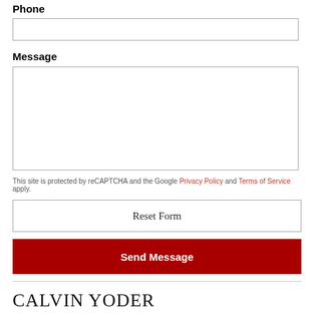Phone
[Phone input field]
Message
[Message textarea]
This site is protected by reCAPTCHA and the Google Privacy Policy and Terms of Service apply.
Reset Form
Send Message
CALVIN YODER
1280 Plaza Blvd.
LANCASTER, PA 17601